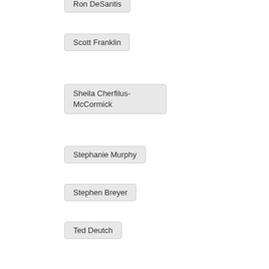Ron DeSantis
Scott Franklin
Sheila Cherfilus-McCormick
Stephanie Murphy
Stephen Breyer
Ted Deutch
Val Demings
Vern Buchanan
Veterans Affairs Department
Vladimir Putin
placeholder